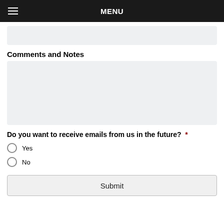MENU
[Figure (screenshot): Top input text field (partially visible), light gray background]
Comments and Notes
[Figure (screenshot): Large text area for comments and notes, light gray background]
Do you want to receive emails from us in the future? *
Yes
No
Submit